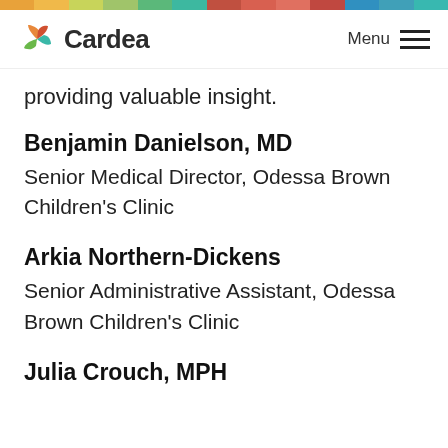Cardea | Menu
providing valuable insight.
Benjamin Danielson, MD
Senior Medical Director, Odessa Brown Children's Clinic
Arkia Northern-Dickens
Senior Administrative Assistant, Odessa Brown Children's Clinic
Julia Crouch, MPH